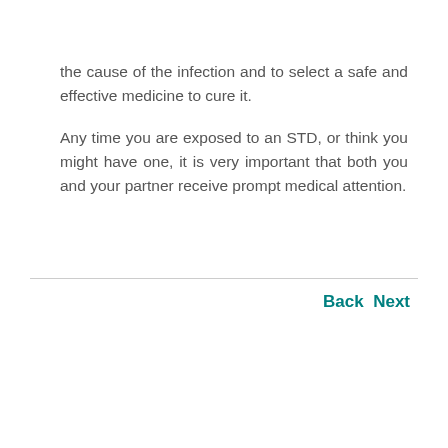the cause of the infection and to select a safe and effective medicine to cure it.
Any time you are exposed to an STD, or think you might have one, it is very important that both you and your partner receive prompt medical attention.
Back  Next